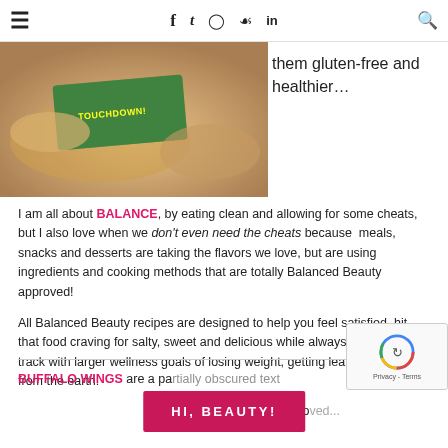≡  f  ✓  ⊙  ⊕  in  🔍
[Figure (photo): Food photo showing a green Touchdown brand packaging with food on a wooden cutting board]
them gluten-free and healthier...
I am all about BALANCE, by eating clean and allowing for some cheats, but I also love when we don't even need the cheats because meals, snacks and desserts are taking the flavors we love, but are using ingredients and cooking methods that are totally Balanced Beauty approved!
All Balanced Beauty recipes are designed to help you feel satisfied, hit that food craving for salty, sweet and delicious while always staying on-track with larger wellness goals of losing weight, getting lean and eating from the earth.
BUFFALO WINGS are a pa... absolutely lo...
[Figure (other): HI, BEAUTY! pink button overlay]
[Figure (other): reCAPTCHA widget overlay in bottom right corner]